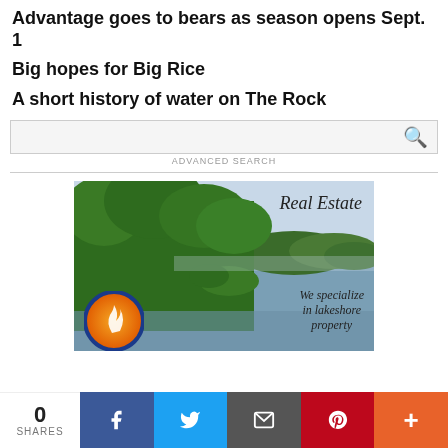Advantage goes to bears as season opens Sept. 1
Big hopes for Big Rice
A short history of water on The Rock
[Figure (screenshot): Search bar with magnifying glass icon and ADVANCED SEARCH label below]
[Figure (photo): Real Estate advertisement showing aerial photo of forested lakeshore with text 'Real Estate' and 'We specialize in lakeshore property', with a circular logo in bottom left]
[Figure (other): Social share bar showing 0 SHARES with Facebook, Twitter, Email, Pinterest, and More buttons]